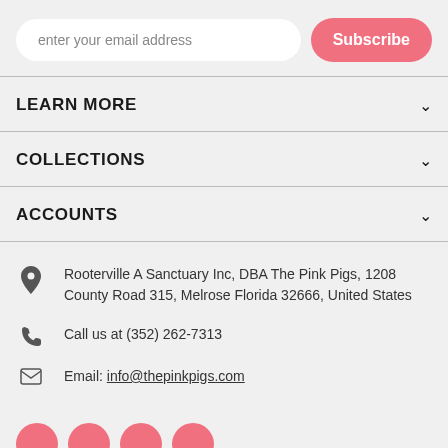enter your email address
Subscribe
LEARN MORE
COLLECTIONS
ACCOUNTS
Rooterville A Sanctuary Inc, DBA The Pink Pigs, 1208 County Road 315, Melrose Florida 32666, United States
Call us at (352) 262-7313
Email: info@thepinkpigs.com